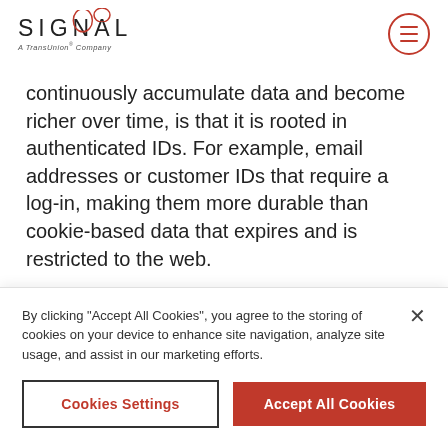SIGNAL A TransUnion® Company
continuously accumulate data and become richer over time, is that it is rooted in authenticated IDs. For example, email addresses or customer IDs that require a log-in, making them more durable than cookie-based data that expires and is restricted to the web.
This doesn't mean that cookies don't have a place in the…
By clicking "Accept All Cookies", you agree to the storing of cookies on your device to enhance site navigation, analyze site usage, and assist in our marketing efforts.
Cookies Settings
Accept All Cookies